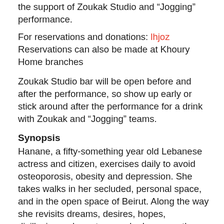the support of Zoukak Studio and "Jogging" performance.
For reservations and donations: lhjoz
Reservations can also be made at Khoury Home branches
Zoukak Studio bar will be open before and after the performance, so show up early or stick around after the performance for a drink with Zoukak and "Jogging" teams.
Synopsis
Hanane, a fifty-something year old Lebanese actress and citizen, exercises daily to avoid osteoporosis, obesity and depression. She takes walks in her secluded, personal space, and in the open space of Beirut. Along the way she revisits dreams, desires, hopes, disillusions, characters, and roles – mostly several Medeas with whom she shares some commonalities.
The effects of this daily routine are contradictory. As a matter of fact, two hormones are stimulated in her body, Dopamine and Adrenalin that are alternatively destructive and constructive, amidst a city that destroys to build and builds